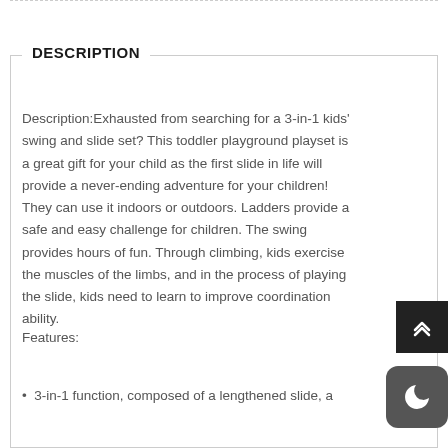DESCRIPTION
Description:Exhausted from searching for a 3-in-1 kids' swing and slide set? This toddler playground playset is a great gift for your child as the first slide in life will provide a never-ending adventure for your children! They can use it indoors or outdoors. Ladders provide a safe and easy challenge for children. The swing provides hours of fun. Through climbing, kids exercise the muscles of the limbs, and in the process of playing the slide, kids need to learn to improve coordination ability.
Features:
3-in-1 function, composed of a lengthened slide, a